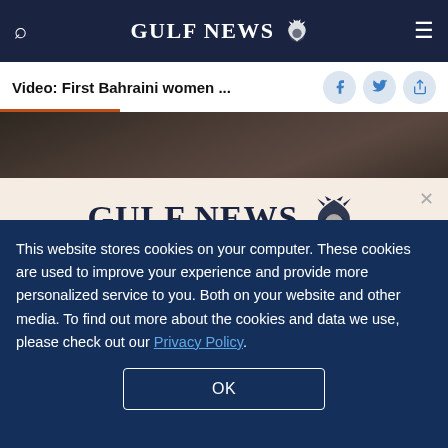GULF NEWS
Video: First Bahraini women ...
[Figure (photo): Partial photo strip showing dark silhouettes, appears to be an article header image]
GULF NEWS
A special offer for our readers
Get the two years All-Access subscription now
This website stores cookies on your computer. These cookies are used to improve your experience and provide more personalized service to you. Both on your website and other media. To find out more about the cookies and data we use, please check out our Privacy Policy.
OK